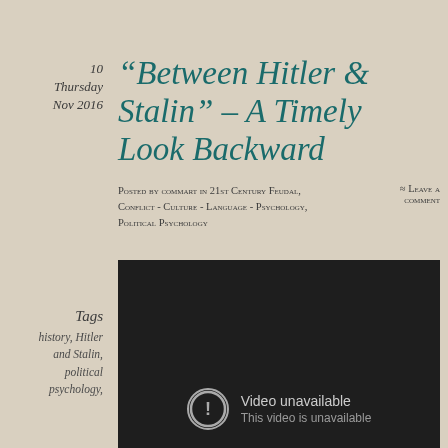10
Thursday
Nov 2016
“Between Hitler & Stalin” – A Timely Look Backward
Posted by commart in 21st Century Feudal, Conflict - Culture - Language - Psychology, Political Psychology
≈ Leave a comment
Tags
history, Hitler and Stalin, political psychology,
[Figure (screenshot): Embedded video player showing 'Video unavailable - This video is unavailable' message on a dark background]